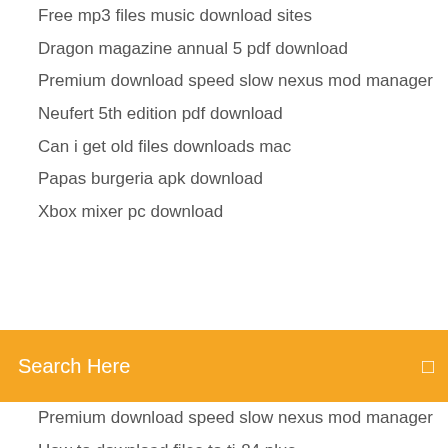Free mp3 files music download sites
Dragon magazine annual 5 pdf download
Premium download speed slow nexus mod manager
Neufert 5th edition pdf download
Can i get old files downloads mac
Papas burgeria apk download
Xbox mixer pc download
Search Here
Premium download speed slow nexus mod manager
How to download files to ti-84 plus
Ps4 download speed xfinity
Epson01afe8 full drivers download from epson
Download game naruto pc offline ukuran kecil
Ps4 download error 6.71
Chrome opens download files
Red astro 6.0 patch file download
Pvz 2 mod apk free download
Simcity buildit unlimited money apk download online